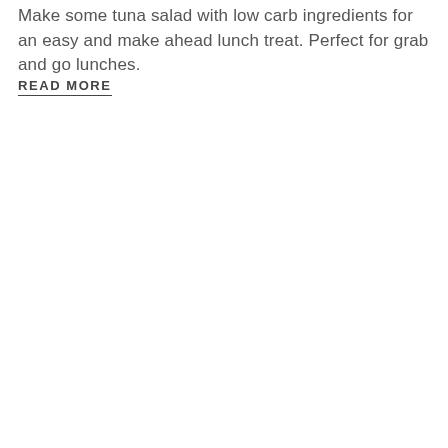Make some tuna salad with low carb ingredients for an easy and make ahead lunch treat.  Perfect for grab and go lunches.
READ MORE